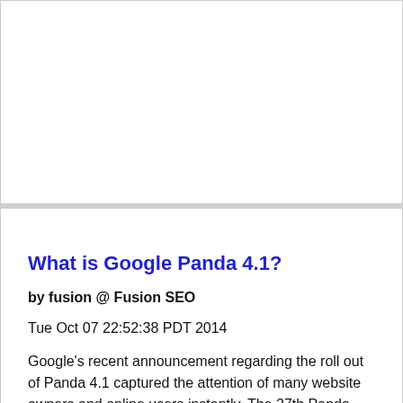[Figure (other): White empty card/advertisement placeholder]
What is Google Panda 4.1?
by fusion @ Fusion SEO
Tue Oct 07 22:52:38 PDT 2014
Google's recent announcement regarding the roll out of Panda 4.1 captured the attention of many website owners and online users instantly. The 27th Panda update is basically designed as a filter to identify and penalize websites with low